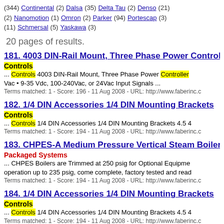(344) Continental (2) Dalsa (35) Delta Tau (2) Denso (21) (2) Nanomotion (1) Omron (2) Parker (94) Portescap (3) (11) Schmersal (5) Yaskawa (3)
20 pages of results.
181. 4003 DIN-Rail Mount, Three Phase Power Controll
Controls
... Controls 4003 DIN-Rail Mount, Three Phase Power Controller Vac • 9-35 Vdc, 100-240Vac, or 24Vac Input Signals ...
Terms matched: 1 - Score: 196 - 11 Aug 2008 - URL: http://www.faberinc.c
182. 1/4 DIN Accessories 1/4 DIN Mounting Brackets
Controls
... Controls 1/4 DIN Accessories 1/4 DIN Mounting Brackets 4.5 4
Terms matched: 1 - Score: 194 - 11 Aug 2008 - URL: http://www.faberinc.c
183. CHPES-A Medium Pressure Vertical Steam Boiler
Packaged Systems
... CHPES Boilers are Trimmed at 250 psig for Optional Equipme operation up to 235 psig, come complete, factory tested and read
Terms matched: 1 - Score: 194 - 11 Aug 2008 - URL: http://www.faberinc.c
184. 1/4 DIN Accessories 1/4 DIN Mounting Brackets
Controls
... Controls 1/4 DIN Accessories 1/4 DIN Mounting Brackets 4.5 4
Terms matched: 1 - Score: 194 - 11 Aug 2008 - URL: http://www.faberinc.c
185. 1/4 DIN Accessories 1/4 DIN Mounting Brackets